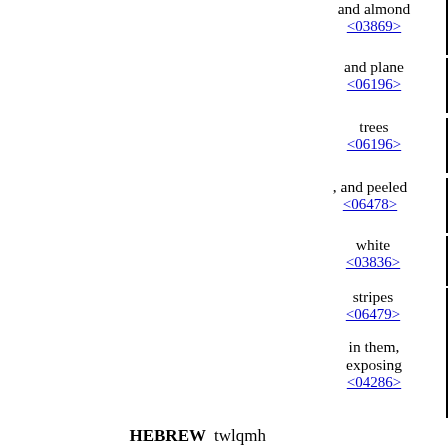and almond
<03869>
and plane
<06196>
trees
<06196>
, and peeled
<06478>
white
<03836>
stripes
<06479>
in them, exposing
<04286>
the white
<03836>
which
<0834>
was in the rods
<04731>
HEBREW twlqmh